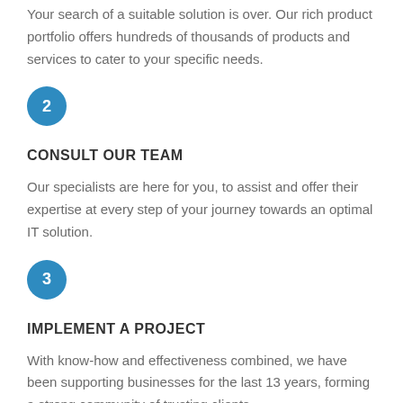Your search of a suitable solution is over. Our rich product portfolio offers hundreds of thousands of products and services to cater to your specific needs.
[Figure (infographic): Blue circle badge with number 2]
CONSULT OUR TEAM
Our specialists are here for you, to assist and offer their expertise at every step of your journey towards an optimal IT solution.
[Figure (infographic): Blue circle badge with number 3]
IMPLEMENT A PROJECT
With know-how and effectiveness combined, we have been supporting businesses for the last 13 years, forming a strong community of trusting clients.